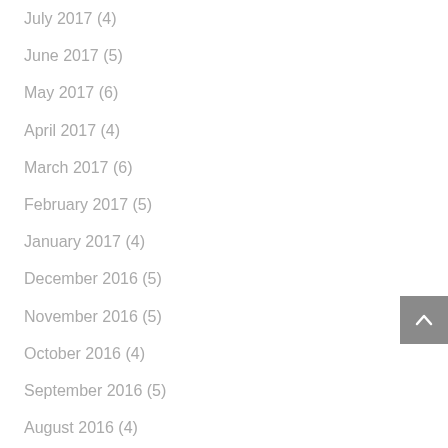July 2017 (4)
June 2017 (5)
May 2017 (6)
April 2017 (4)
March 2017 (6)
February 2017 (5)
January 2017 (4)
December 2016 (5)
November 2016 (5)
October 2016 (4)
September 2016 (5)
August 2016 (4)
July 2016 (6)
June 2016 (4)